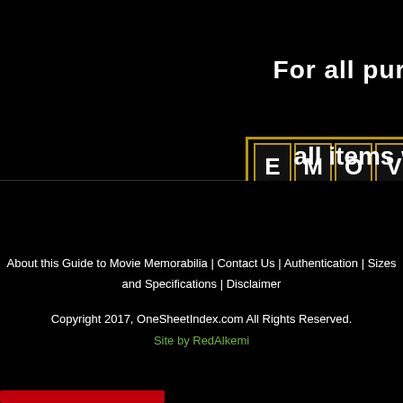For all purc
[Figure (logo): EMOV logo with film strip style boxes containing letters E, M, O, V on gold/brown border]
all items w
About this Guide to Movie Memorabilia | Contact Us | Authentication | Sizes and Specifications | Disclaimer
Copyright 2017, OneSheetIndex.com All Rights Reserved.
Site by RedAlkemi